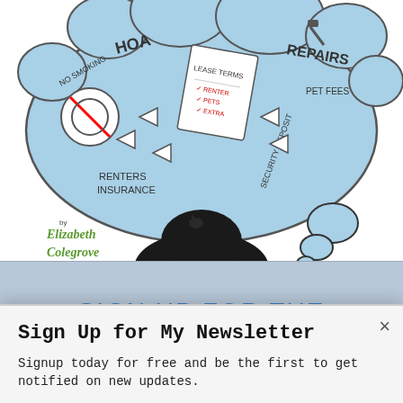[Figure (illustration): Illustrated thought bubble showing rental/lease concepts: HOA, No Smoking, Renters Insurance, Lease Terms, Repairs, Pet Fees, Security Deposit. By Elizabeth Colegrove. A cartoon figure's head is shown at bottom center.]
SIGN UP FOR THE NEWSLETTER
Sign Up for My Newsletter
Signup today for free and be the first to get notified on new updates.
Enter your Email
SUBSCRIBE NOW